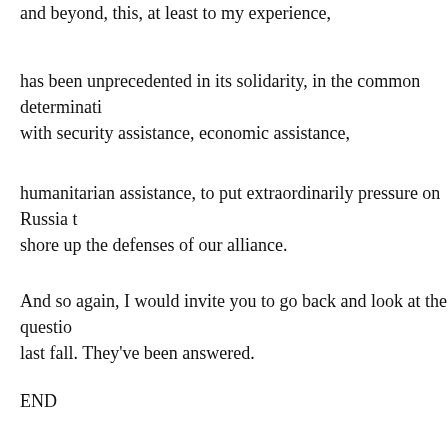and beyond, this, at least to my experience,
has been unprecedented in its solidarity, in the common determination with security assistance, economic assistance,
humanitarian assistance, to put extraordinarily pressure on Russia to shore up the defenses of our alliance.
And so again, I would invite you to go back and look at the questions last fall. They've been answered.
END